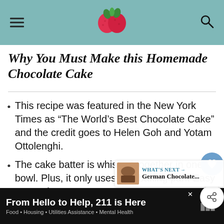[Raspberry/strawberry logo header with navigation]
Why You Must Make this Homemade Chocolate Cake
This recipe was featured in the New York Times as “The World’s Best Chocolate Cake” and the credit goes to Helen Goh and Yotam Ottolenghi.
The cake batter is whisked together in one bowl. Plus, it only uses one baking pan. Easy as can be!
Topped with a rich, glossy ganache, the 2-ingredient frosting is even simpler than the cake.
From Hello to Help, 211 is Here · Food · Housing · Utilities Assistance · Mental Health